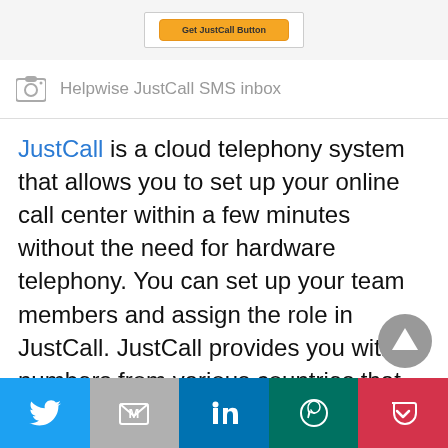[Figure (screenshot): Screenshot showing a yellow button UI element]
Helpwise JustCall SMS inbox
JustCall is a cloud telephony system that allows you to set up your online call center within a few minutes without the need for hardware telephony. You can set up your team members and assign the role in JustCall. JustCall provides you with numbers from various countries that have SMS and calling capability.
Twitter | Gmail | LinkedIn | WhatsApp | Pocket